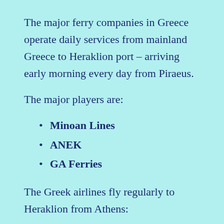The major ferry companies in Greece operate daily services from mainland Greece to Heraklion port – arriving early morning every day from Piraeus.
The major players are:
Minoan Lines
ANEK
GA Ferries
The Greek airlines fly regularly to Heraklion from Athens:
Olympic Airlines